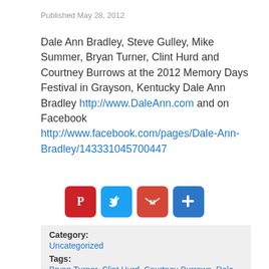Published May 28, 2012
Dale Ann Bradley, Steve Gulley, Mike Summer, Bryan Turner, Clint Hurd and Courtney Burrows at the 2012 Memory Days Festival in Grayson, Kentucky Dale Ann Bradley http://www.DaleAnn.com and on Facebook http://www.facebook.com/pages/Dale-Ann-Bradley/143331045700447
[Figure (other): Social sharing icons: Pinterest, Twitter, Gmail, AddThis]
Category:
Uncategorized
Tags:
Bryan Turner, Clint Hurd, Courtney Burrows, Dale Ann Bradley, Mike Summer, Steve Gulley